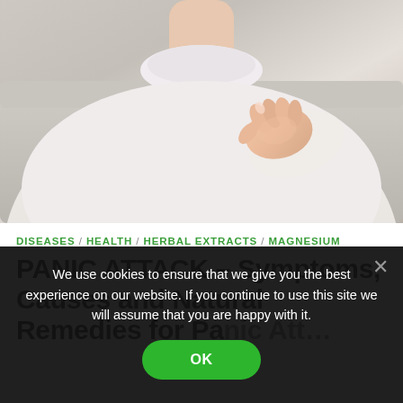[Figure (photo): Person in white turtleneck sweater pressing hand against chest, seated on a light gray sofa, suggesting chest pain or heart discomfort.]
DISEASES / HEALTH / HERBAL EXTRACTS / MAGNESIUM
PANIC ATTACK – Symptoms, Causes and Natural Remedies for Panic Attacks and Anxiety
We use cookies to ensure that we give you the best experience on our website. If you continue to use this site we will assume that you are happy with it.